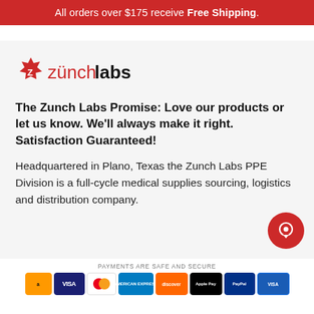All orders over $175 receive Free Shipping.
[Figure (logo): Zunch Labs logo with red star/gear icon and text 'zünchlabs' in red and black]
The Zunch Labs Promise: Love our products or let us know. We'll always make it right. Satisfaction Guaranteed!
Headquartered in Plano, Texas the Zunch Labs PPE Division is a full-cycle medical supplies sourcing, logistics and distribution company.
PAYMENTS ARE SAFE AND SECURE